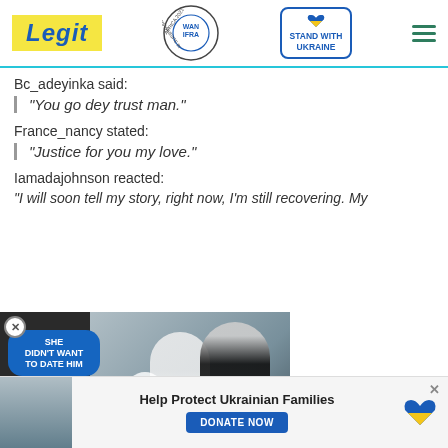Legit — WAN IFRA 2021 Best News Website in Africa — Stand With Ukraine
Bc_adeyinka said:
"You go dey trust man."
France_nancy stated:
"Justice for you my love."
Iamadajohnson reacted:
"I will soon tell my story, right now, I'm still recovering. My
[Figure (screenshot): Video advertisement overlay showing a couple (man in tuxedo, woman in white dress) with text 'SHE DIDN'T WANT TO DATE HIM', a play button, minimize button, and close button]
[Figure (screenshot): Bottom banner ad for Ukrainian families with photo, 'Help Protect Ukrainian Families' text, DONATE NOW button, and Ukrainian flag heart logo]